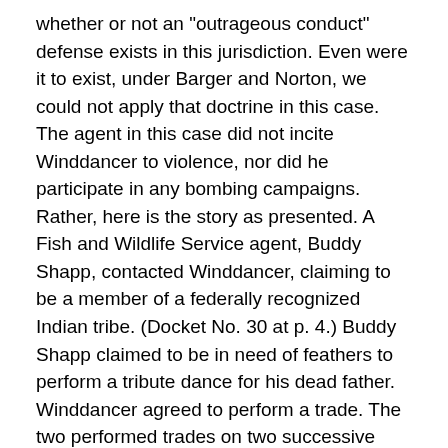whether or not an "outrageous conduct" defense exists in this jurisdiction. Even were it to exist, under Barger and Norton, we could not apply that doctrine in this case. The agent in this case did not incite Winddancer to violence, nor did he participate in any bombing campaigns. Rather, here is the story as presented. A Fish and Wildlife Service agent, Buddy Shapp, contacted Winddancer, claiming to be a member of a federally recognized Indian tribe. (Docket No. 30 at p. 4.) Buddy Shapp claimed to be in need of feathers to perform a tribute dance for his dead father. Winddancer agreed to perform a trade. The two performed trades on two successive days. During the second trade, Shapp told Winddancer he thought some of his own feathers had been poached, but the information did not deter Winddancer from performing the trade. After Shapp left on the second day, agents arrived at Winddancer's trailer and performed a search.
In short, an undercover agent proposed to Winddancer that